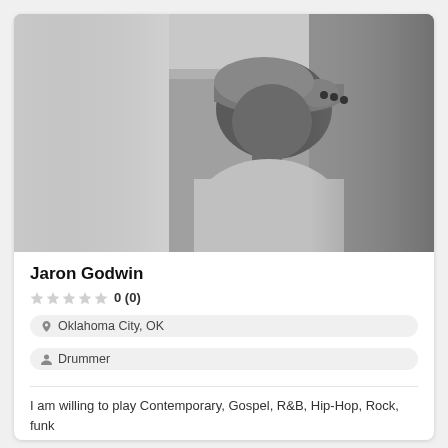[Figure (photo): Black and white profile photo of a man wearing a baseball cap and light-colored t-shirt, looking to the side]
Jaron Godwin
0 (0)
Oklahoma City, OK
Drummer
I am willing to play Contemporary, Gospel, R&B, Hip-Hop, Rock, funk